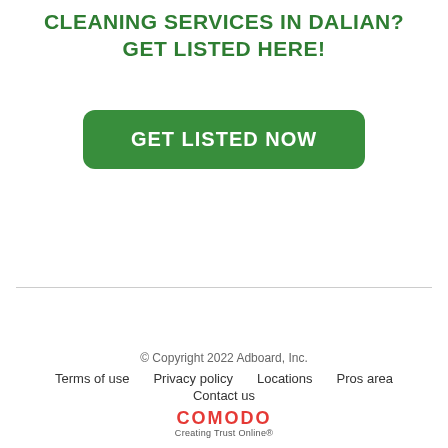CLEANING SERVICES IN DALIAN? GET LISTED HERE!
[Figure (other): Green rounded button with white uppercase text 'GET LISTED NOW']
© Copyright 2022 Adboard, Inc. | Terms of use | Privacy policy | Locations | Pros area | Contact us | COMODO Creating Trust Online®